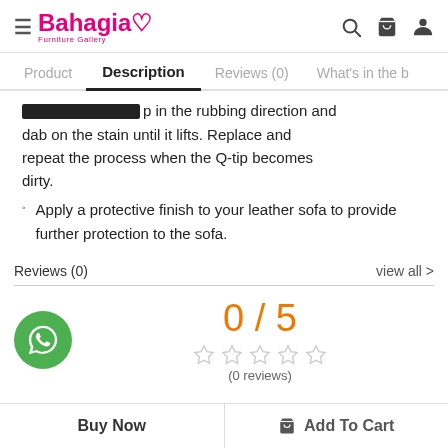Bahagia Furniture Gallery
Description (active tab), also: Product | Reviews (0) | What's in the b
...dab on the stain until it lifts. Replace and repeat the process when the Q-tip becomes dirty.
Apply a protective finish to your leather sofa to provide further protection to the sofa.
Reviews (0)   view all >
[Figure (other): Rating display: 0 / 5 with 5 empty stars and (0 reviews). WhatsApp button on the left.]
Buy Now   Add To Cart